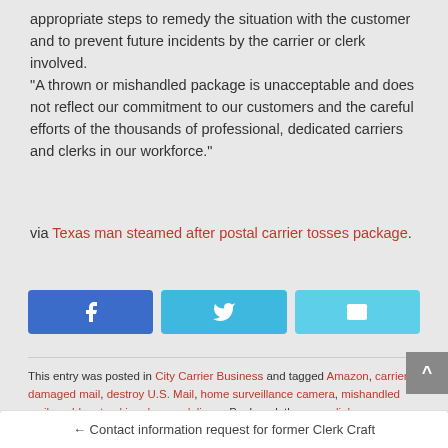appropriate steps to remedy the situation with the customer and to prevent future incidents by the carrier or clerk involved.
“A thrown or mishandled package is unacceptable and does not reflect our commitment to our customers and the careful efforts of the thousands of professional, dedicated carriers and clerks in our workforce.”
via Texas man steamed after postal carrier tosses package.
[Figure (infographic): Three social share buttons: Facebook (blue), Twitter (light blue), Email (cyan), each with white icon]
This entry was posted in City Carrier Business and tagged Amazon, carrier, damaged mail, destroy U.S. Mail, home surveillance camera, mishandled mail, problem tracking down a delivery. Bookmark the permalink.
← Contact information request for former Clerk Craft